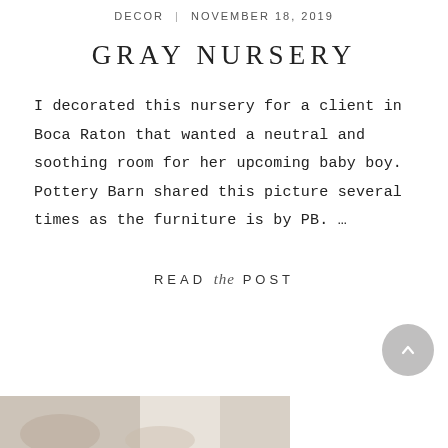DECOR | NOVEMBER 18, 2019
GRAY NURSERY
I decorated this nursery for a client in Boca Raton that wanted a neutral and soothing room for her upcoming baby boy. Pottery Barn shared this picture several times as the furniture is by PB. …
READ the POST
[Figure (photo): Partial bottom image strip visible at the bottom of the page, appearing to show a nursery or room scene]